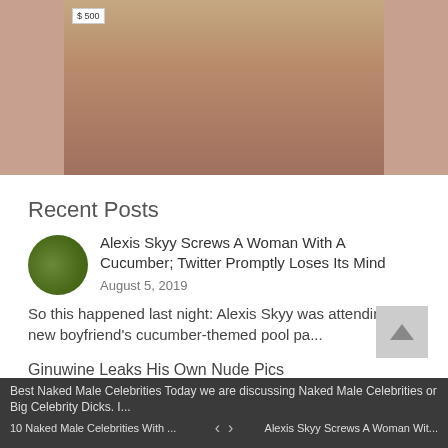[Figure (photo): Cropped photo of a woman wearing jewelry and a burgundy top, with a price tag showing $500 in the upper left corner]
Recent Posts
Alexis Skyy Screws A Woman With A Cucumber; Twitter Promptly Loses Its Mind
August 5, 2019
So this happened last night: Alexis Skyy was attending her new boyfriend's cucumber-themed pool pa...
Ginuwine Leaks His Own Nude Pics
July 17, 2019
10 Naked Male Celebrities With Big Schlongs
March 11, 2018
Best Naked Male Celebrities Today we are discussing Naked Male Celebrities or Big Celebrity Dicks. I...
10 Naked Male Celebrities With ...
Alexis Skyy Screws A Woman Wit...